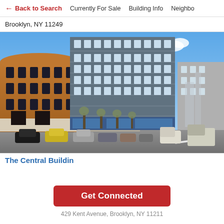← Back to Search   Currently For Sale   Building Info   Neighbo
Brooklyn, NY 11249
[Figure (photo): Street view photo of The Central Building at 429 Kent Avenue, Brooklyn, NY 11211. Shows brick and gray/blue mid-rise buildings with storefronts at street level, parked cars and trees on the sidewalk, blue sky in background.]
The Central Buildin...
Get Connected
429 Kent Avenue, Brooklyn, NY 11211